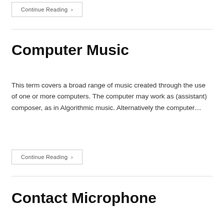Continue Reading ›
Computer Music
This term covers a broad range of music created through the use of one or more computers. The computer may work as (assistant) composer, as in Algorithmic music. Alternatively the computer…
Continue Reading ›
Contact Microphone